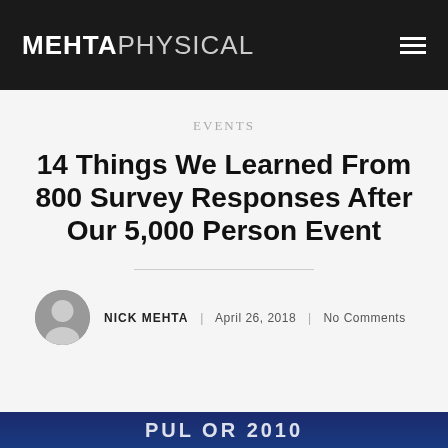MEHTAPHYSICAL
EVENTS
14 Things We Learned From 800 Survey Responses After Our 5,000 Person Event
NICK MEHTA | April 26, 2018 | No Comments
[Figure (photo): Partial bottom image showing text that appears to read related to an event, dark blue background]